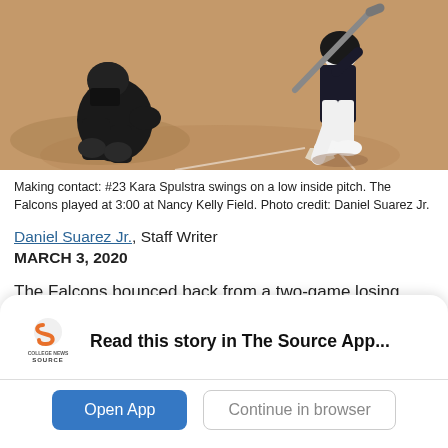[Figure (photo): Softball game photo showing catcher crouching at home plate and batter swinging on a low inside pitch, dirt infield visible]
Making contact: #23 Kara Spulstra swings on a low inside pitch. The Falcons played at 3:00 at Nancy Kelly Field. Photo credit: Daniel Suarez Jr.
Daniel Suarez Jr., Staff Writer
MARCH 3, 2020
The Falcons bounced back from a two-game losing streak by defeating the Rio Hondo Roadrunners 5-3.
[Figure (logo): College News Source logo - stylized S shape in orange with text COLLEGE NEWS SOURCE below]
Read this story in The Source App...
Open App
Continue in browser